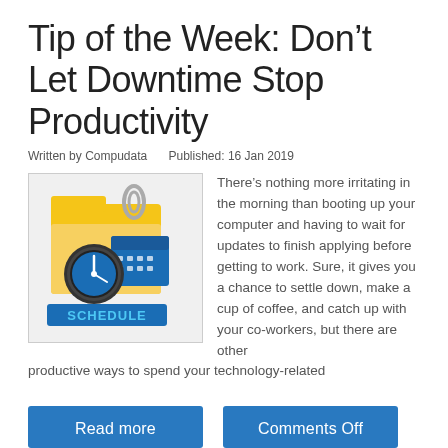Tip of the Week: Don’t Let Downtime Stop Productivity
Written by Compudata    Published: 16 Jan 2019
[Figure (illustration): Illustration of a schedule concept with a yellow folder, blue calendar, clock, and the word SCHEDULE in blue 3D letters]
There’s nothing more irritating in the morning than booting up your computer and having to wait for updates to finish applying before getting to work. Sure, it gives you a chance to settle down, make a cup of coffee, and catch up with your co-workers, but there are other productive ways to spend your technology-related